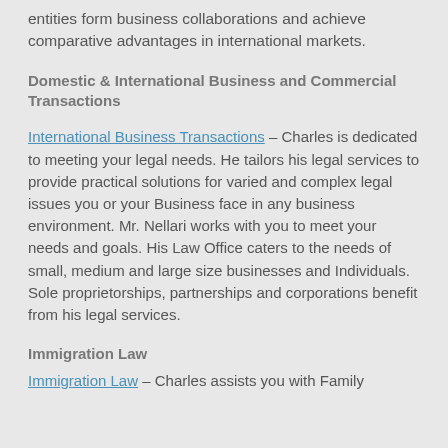entities form business collaborations and achieve comparative advantages in international markets.
Domestic & International Business and Commercial Transactions
International Business Transactions – Charles is dedicated to meeting your legal needs. He tailors his legal services to provide practical solutions for varied and complex legal issues you or your Business face in any business environment. Mr. Nellari works with you to meet your needs and goals. His Law Office caters to the needs of small, medium and large size businesses and Individuals. Sole proprietorships, partnerships and corporations benefit from his legal services.
Immigration Law
Immigration Law – Charles assists you with Family